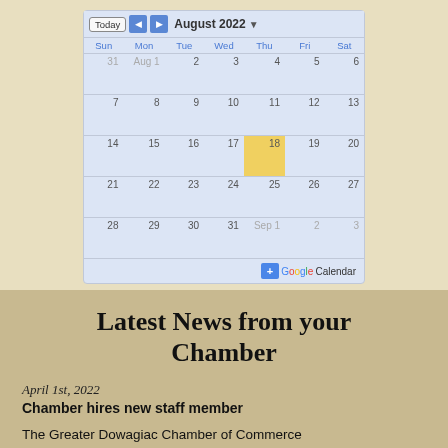[Figure (other): Google Calendar widget showing August 2022. Today navigation buttons, month grid with dates Sun-Sat. Date 18 highlighted in yellow/gold. Other-month dates shown in gray (31 Jul, Aug 1, Sep 1, 2, 3). Footer shows + Google Calendar button.]
Latest News from your Chamber
April 1st, 2022
Chamber hires new staff member
The Greater Dowagiac Chamber of Commerce